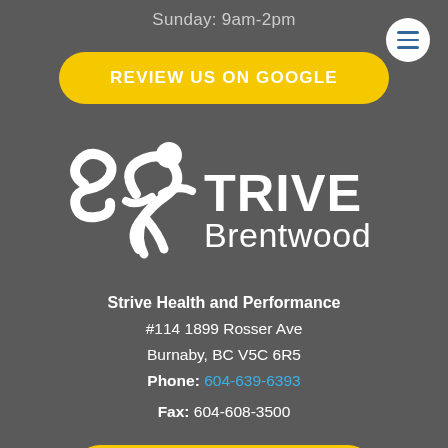Sunday: 9am-2pm
[Figure (logo): Menu button (hamburger icon) in top right corner]
REVIEW US ON GOOGLE
[Figure (logo): Strive Brentwood logo with running figure icon and text]
Strive Health and Performance
#114 1899 Rosser Ave
Burnaby, BC V5C 6R5
Phone: 604-639-6393
Fax: 604-608-3500
BOOK ONLINE